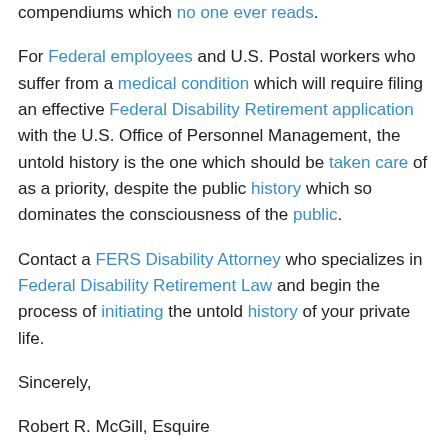compendiums which no one ever reads.
For Federal employees and U.S. Postal workers who suffer from a medical condition which will require filing an effective Federal Disability Retirement application with the U.S. Office of Personnel Management, the untold history is the one which should be taken care of as a priority, despite the public history which so dominates the consciousness of the public.
Contact a FERS Disability Attorney who specializes in Federal Disability Retirement Law and begin the process of initiating the untold history of your private life.
Sincerely,
Robert R. McGill, Esquire